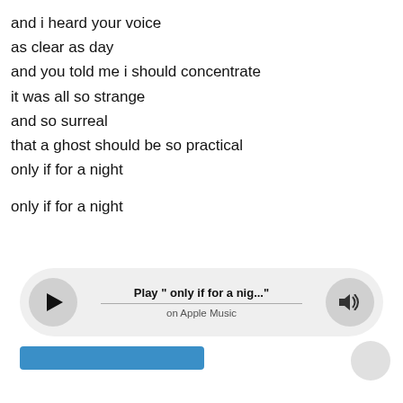and i heard your voice
as clear as day
and you told me i should concentrate
it was all so strange
and so surreal
that a ghost should be so practical
only if for a night

only if for a night
[Figure (screenshot): Apple Music player widget showing Play button, track title 'Play " only if for a nig..."', subtitle 'on Apple Music', and volume button]
[Figure (screenshot): Partial blue button/bar at bottom of screen, partially obscured]